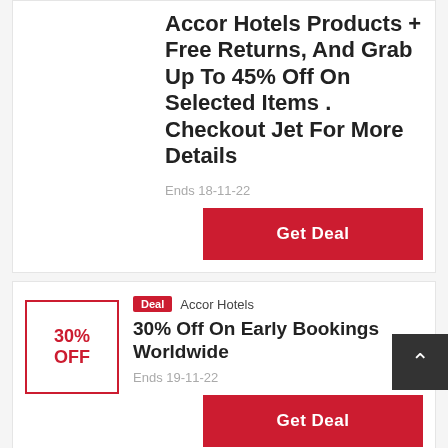Accor Hotels Products + Free Returns, And Grab Up To 45% Off On Selected Items . Checkout Jet For More Details
Ends 18-11-22
Get Deal
[Figure (other): 30% OFF discount box with red border]
Deal  Accor Hotels
30% Off On Early Bookings Worldwide
Ends 19-11-22
Get Deal
[Figure (other): Back to top button, dark gray with upward arrow]
[Figure (other): Partial third deal card showing discount box and Deal badge with Accor Hotels brand]